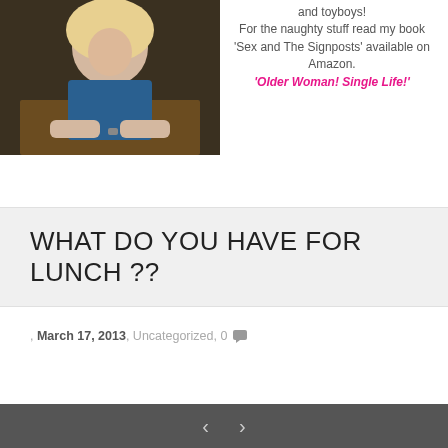[Figure (photo): Photo of a blonde woman sitting at a table, wearing a blue top, resting her hands on the surface.]
and toyboys!
For the naughty stuff read my book 'Sex and The Signposts' available on Amazon.
'Older Woman! Single Life!'
WHAT DO YOU HAVE FOR LUNCH ??
, March 17, 2013, Uncategorized, 0
< >